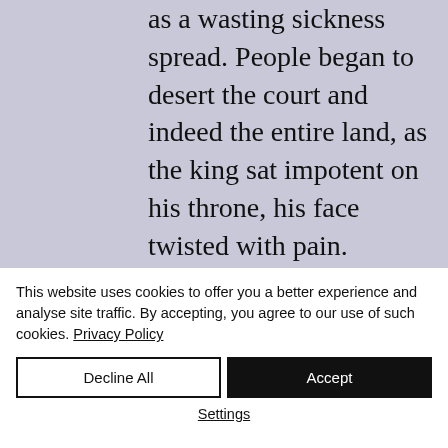as a wasting sickness spread. People began to desert the court and indeed the entire land, as the king sat impotent on his throne, his face twisted with pain.

Eventually, all that remained was a handful of loyal staff, as dark and morose as the king
This website uses cookies to offer you a better experience and analyse site traffic. By accepting, you agree to our use of such cookies. Privacy Policy
Decline All
Accept
Settings